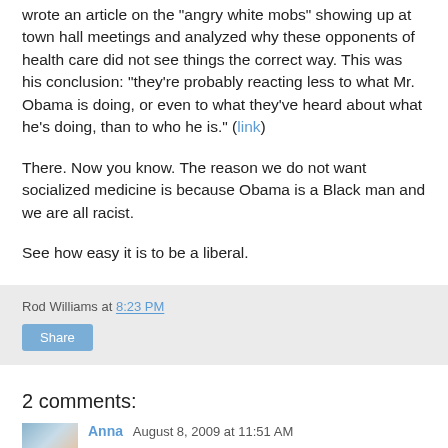wrote an article on the "angry white mobs" showing up at town hall meetings and analyzed why these opponents of health care did not see things the correct way. This was his conclusion: "they're probably reacting less to what Mr. Obama is doing, or even to what they've heard about what he's doing, than to who he is." (link)
There. Now you know. The reason we do not want socialized medicine is because Obama is a Black man and we are all racist.
See how easy it is to be a liberal.
Rod Williams at 8:23 PM
2 comments:
Anna August 8, 2009 at 11:51 AM